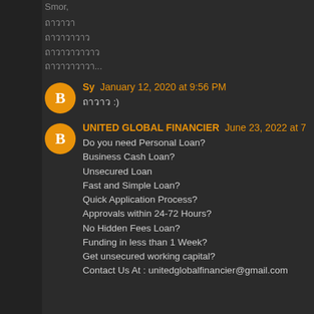Smor,
ถาวาวา
ถาวาวาวาว
ถาวาวาวาวาว
ถาวาวาวาวา...
Sy  January 12, 2020 at 9:56 PM
ถาวาว :)
UNITED GLOBAL FINANCIER  June 23, 2022 at 7
Do you need Personal Loan?
Business Cash Loan?
Unsecured Loan
Fast and Simple Loan?
Quick Application Process?
Approvals within 24-72 Hours?
No Hidden Fees Loan?
Funding in less than 1 Week?
Get unsecured working capital?
Contact Us At : unitedglobalfinancier@gmail.com